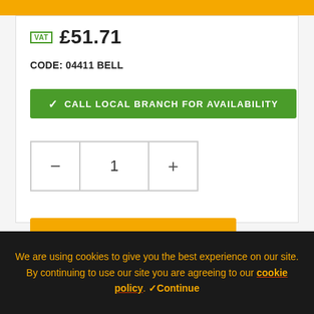VAT £51.71
CODE: 04411 BELL
✓ CALL LOCAL BRANCH FOR AVAILABILITY
− 1 +
ADD TO CART
We are using cookies to give you the best experience on our site. By continuing to use our site you are agreeing to our cookie policy. ✓Continue